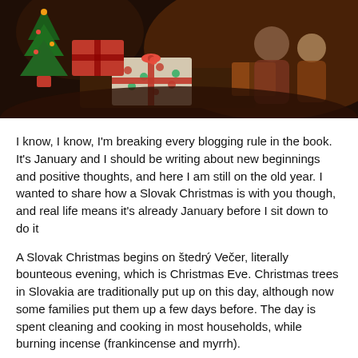[Figure (photo): A warm, dimly lit photo of children sitting on the floor around wrapped Christmas gifts and a Christmas tree. The gifts have colorful wrapping paper with polka dots and ribbons.]
I know, I know, I'm breaking every blogging rule in the book. It's January and I should be writing about new beginnings and positive thoughts, and here I am still on the old year. I wanted to share how a Slovak Christmas is with you though, and real life means it's already January before I sit down to do it
A Slovak Christmas begins on štedrý Večer, literally bounteous evening, which is Christmas Eve. Christmas trees in Slovakia are traditionally put up on this day, although now some families put them up a few days before. The day is spent cleaning and cooking in most households, while burning incense (frankincense and myrrh).
Some families still take a walk to the cemetery before supper,